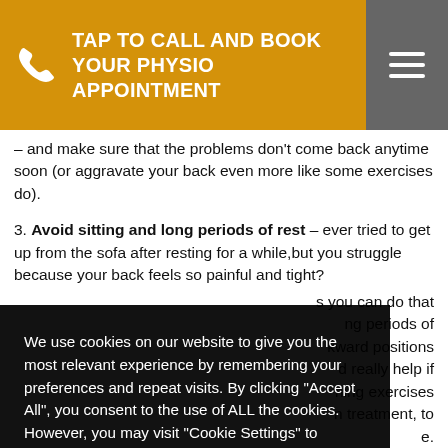TAP TO CALL AND BOOK YOUR PHYSIO APPOINTMENT
– and make sure that the problems don't come back anytime soon (or aggravate your back even more like some exercises do).
3. Avoid sitting and long periods of rest – ever tried to get up from the sofa after resting for a while,but you struggle because your back feels so painful and tight?
s you can do that ng periods of kward positions d really help if ning exercises n treatment, to e.
[Figure (screenshot): Cookie consent overlay on dark background with text: We use cookies on our website to give you the most relevant experience by remembering your preferences and repeat visits. By clicking "Accept All", you consent to the use of ALL the cookies. However, you may visit "Cookie Settings" to provide a controlled consent. Buttons: Cookie Settings and Accept All.]
o is proven to act at Form st common fecting your job, your ability to keep active, if it threatens your